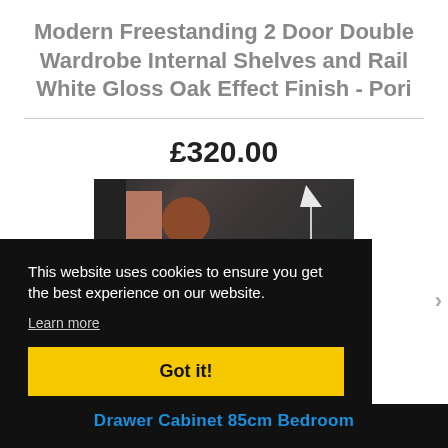Modern Freestanding 2 Door Double Wardrobe Internal Shelves and Rail White Gloss Oak Effect Finish - Pori
£320.00
[Figure (photo): Partial product photo of a wardrobe in a styled room setting with dark background, salmon-colored panel, round wooden object, and a lamp]
This website uses cookies to ensure you get the best experience on our website.
Learn more
Got it!
Drawer Cabinet 85cm Bedroom